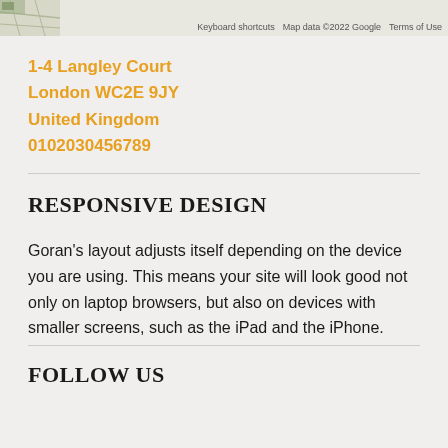[Figure (map): Partial Google Maps view with map thumbnail in top-left corner and map credits including keyboard shortcuts, Map data ©2022 Google, and Terms of Use]
1-4 Langley Court
London WC2E 9JY
United Kingdom
0102030456789
RESPONSIVE DESIGN
Goran's layout adjusts itself depending on the device you are using. This means your site will look good not only on laptop browsers, but also on devices with smaller screens, such as the iPad and the iPhone.
FOLLOW US